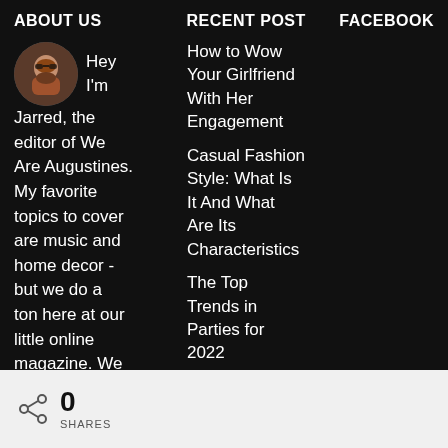ABOUT US   RECENT POST   FACEBOOK
Hey I'm Jarred, the editor of We Are Augustines. My favorite topics to cover are music and home decor - but we do a ton here at our little online magazine. We also cover
How to Wow Your Girlfriend With Her Engagement
Casual Fashion Style: What Is It And What Are Its Characteristics
The Top Trends in Parties for 2022
0
SHARES